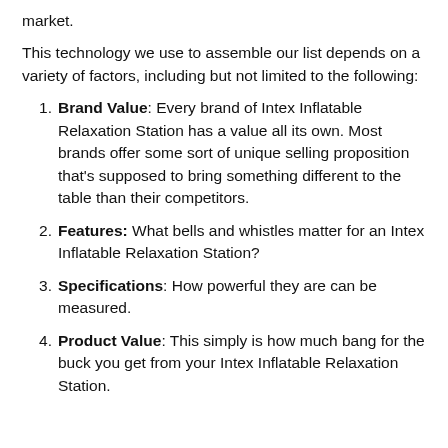market.
This technology we use to assemble our list depends on a variety of factors, including but not limited to the following:
Brand Value: Every brand of Intex Inflatable Relaxation Station has a value all its own. Most brands offer some sort of unique selling proposition that's supposed to bring something different to the table than their competitors.
Features: What bells and whistles matter for an Intex Inflatable Relaxation Station?
Specifications: How powerful they are can be measured.
Product Value: This simply is how much bang for the buck you get from your Intex Inflatable Relaxation Station.